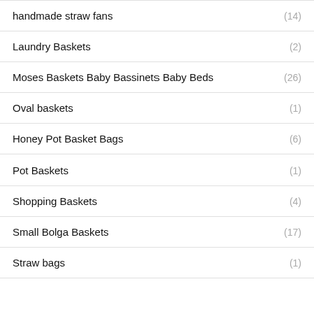handmade straw fans (14)
Laundry Baskets (2)
Moses Baskets Baby Bassinets Baby Beds (26)
Oval baskets (1)
Honey Pot Basket Bags (6)
Pot Baskets (1)
Shopping Baskets (4)
Small Bolga Baskets (17)
Straw bags (1)